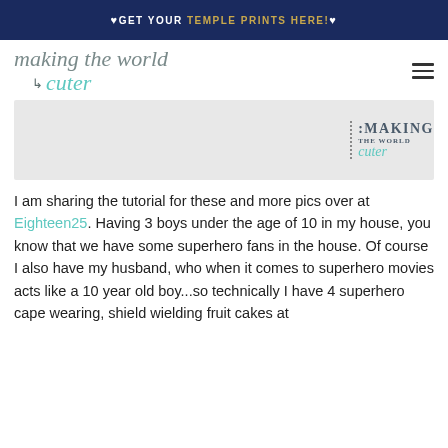♥GET YOUR TEMPLE PRINTS HERE!♥
[Figure (logo): Making the world cuter blog logo in grey italic script with teal 'cuter' text]
[Figure (illustration): Grey banner image with Making The World Cuter logo on the right side with dotted border accent]
I am sharing the tutorial for these and more pics over at Eighteen25. Having 3 boys under the age of 10 in my house, you know that we have some superhero fans in the house. Of course I also have my husband, who when it comes to superhero movies acts like a 10 year old boy...so technically I have 4 superhero cape wearing, shield wielding fruit cakes at